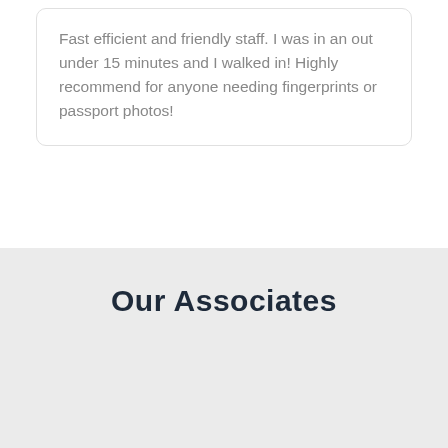Fast efficient and friendly staff. I was in an out under 15 minutes and I walked in! Highly recommend for anyone needing fingerprints or passport photos!
Our Associates